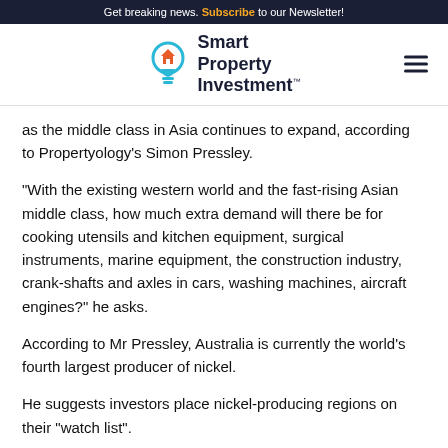Get breaking news. Subscribe to our Newsletter!
[Figure (logo): Smart Property Investment logo with lightbulb icon and hamburger menu]
as the middle class in Asia continues to expand, according to Propertyology's Simon Pressley.
“With the existing western world and the fast-rising Asian middle class, how much extra demand will there be for cooking utensils and kitchen equipment, surgical instruments, marine equipment, the construction industry, crank-shafts and axles in cars, washing machines, aircraft engines?” he asks.
According to Mr Pressley, Australia is currently the world’s fourth largest producer of nickel.
He suggests investors place nickel-producing regions on their “watch list”.